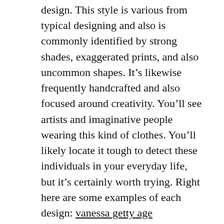design. This style is various from typical designing and also is commonly identified by strong shades, exaggerated prints, and also uncommon shapes. It's likewise frequently handcrafted and also focused around creativity. You'll see artists and imaginative people wearing this kind of clothes. You'll likely locate it tough to detect these individuals in your everyday life, but it's certainly worth trying. Right here are some examples of each design: vanessa getty age
Social context
During the post-industrial duration, the emphasis on style transformed from a psychological viewpoint to a sociological one. Herbert Blumer presumed that customers were the driving pressure for change and that developers' duty was to specify collective preferences. Kawamura, however, taken into consideration style to be a crucial catalyst in